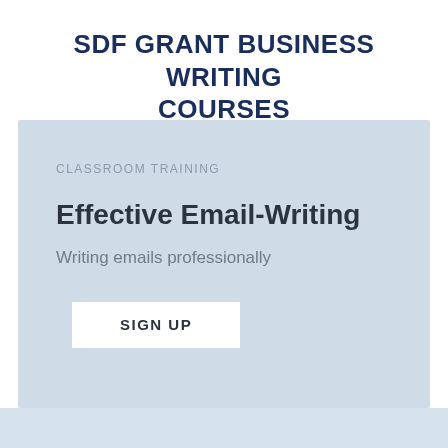SDF GRANT BUSINESS WRITING COURSES
CLASSROOM TRAINING
Effective Email-Writing
Writing emails professionally
SIGN UP